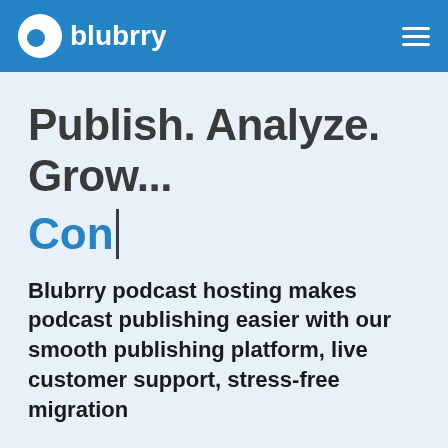blubrry
Publish. Analyze. Grow...
Con|
Blubrry podcast hosting makes podcast publishing easier with our smooth publishing platform, live customer support, stress-free migration